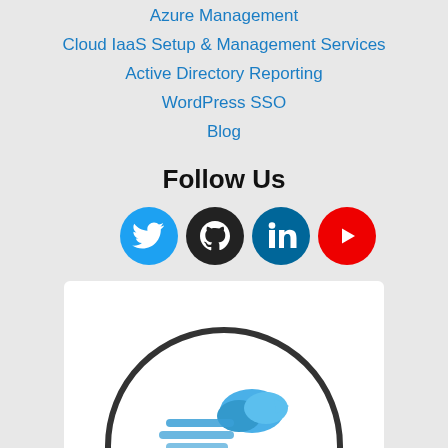Azure Management
Cloud IaaS Setup & Management Services
Active Directory Reporting
WordPress SSO
Blog
Follow Us
[Figure (infographic): Social media icons: Twitter (blue circle), GitHub (dark circle), LinkedIn (dark teal circle), YouTube (red circle)]
[Figure (logo): WP Cloud SSO logo: circular logo with cloud and speed lines graphic, text 'WP CLOUD SSO' with padlock cloud icon, inside a white rounded rectangle]